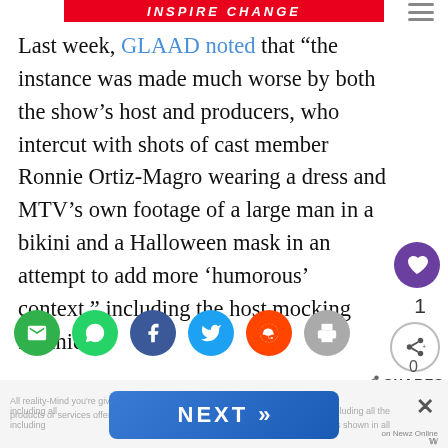INSPIRE CHANGE
Last week, GLAAD noted that “the instance was made much worse by both the show’s host and producers, who intercut with shots of cast member Ronnie Ortiz-Magro wearing a dress and MTV’s own footage of a large man in a bikini and a Halloween mask in an attempt to add more ‘humorous’ context,” including the host mocking Ronnie.
[Figure (infographic): Row of social sharing buttons: email (green), WhatsApp (green), Facebook (dark blue), Twitter (light blue), Reddit (orange), print (gray), plus a share count area showing 0 SHARES]
[Figure (infographic): NEXT button (blue gradient) with double chevron arrows, close X button, and on Newz Online branding at bottom of page]